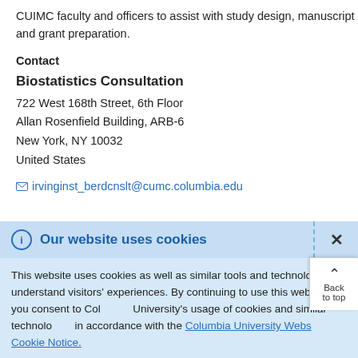CUIMC faculty and officers to assist with study design, manuscript and grant preparation.
Contact
Biostatistics Consultation
722 West 168th Street, 6th Floor
Allan Rosenfield Building, ARB-6
New York, NY 10032
United States
irvinginst_berdcnslt@cumc.columbia.edu
Our website uses cookies
This website uses cookies as well as similar tools and technologies to understand visitors' experiences. By continuing to use this website, you consent to Columbia University's usage of cookies and similar technologies in accordance with the Columbia University Website Cookie Notice.